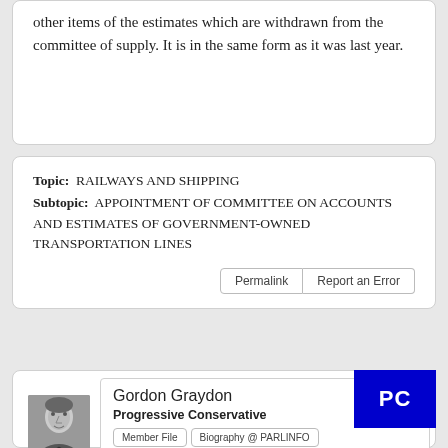other items of the estimates which are withdrawn from the committee of supply. It is in the same form as it was last year.
Topic: RAILWAYS AND SHIPPING
Subtopic: APPOINTMENT OF COMMITTEE ON ACCOUNTS AND ESTIMATES OF GOVERNMENT-OWNED TRANSPORTATION LINES
Permalink | Report an Error
[Figure (photo): Black and white portrait photo of Gordon Graydon]
Gordon Graydon
Progressive Conservative
Member File | Biography @ PARLINFO